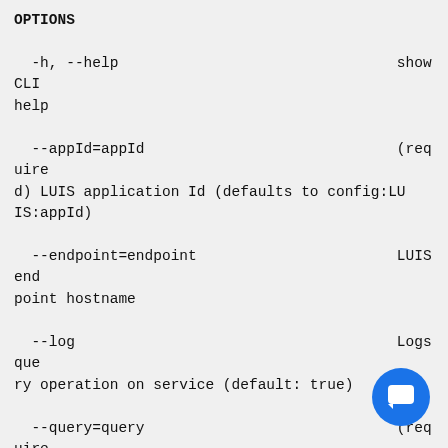OPTIONS

  -h, --help                                show CLI help

  --appId=appId                             (required) LUIS application Id (defaults to config:LUIS:appId)

  --endpoint=endpoint                       LUIS endpoint hostname

  --log                                     Logs query operation on service (default: true)

  --query=query                             (required) Query string to predict

  --staging                                 Presence of flag targets the staging app, if no flag passed defaults to production

  --subscriptionKey=subscriptionKey         (required) LUIS cognitive services subscription key
[Figure (other): Chat/help button icon (blue circle with white chat bubble icon)]